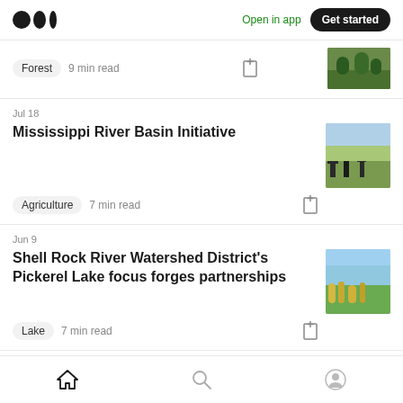Medium logo | Open in app | Get started
Forest  9 min read
Jul 18
Mississippi River Basin Initiative
Agriculture  7 min read
Jun 9
Shell Rock River Watershed District's Pickerel Lake focus forges partnerships
Lake  7 min read
Home | Search | Profile